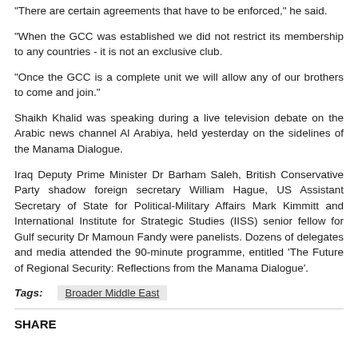"There are certain agreements that have to be enforced," he said.
"When the GCC was established we did not restrict its membership to any countries - it is not an exclusive club.
"Once the GCC is a complete unit we will allow any of our brothers to come and join."
Shaikh Khalid was speaking during a live television debate on the Arabic news channel Al Arabiya, held yesterday on the sidelines of the Manama Dialogue.
Iraq Deputy Prime Minister Dr Barham Saleh, British Conservative Party shadow foreign secretary William Hague, US Assistant Secretary of State for Political-Military Affairs Mark Kimmitt and International Institute for Strategic Studies (IISS) senior fellow for Gulf security Dr Mamoun Fandy were panelists. Dozens of delegates and media attended the 90-minute programme, entitled 'The Future of Regional Security: Reflections from the Manama Dialogue'.
Tags: Broader Middle East
SHARE